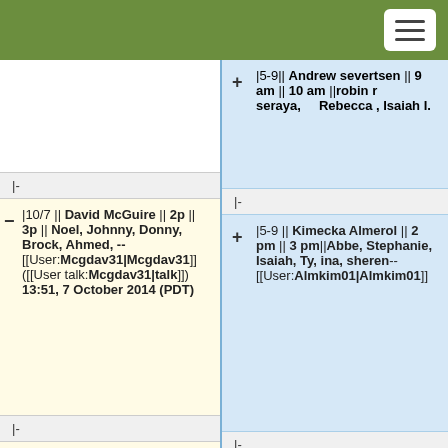Menu button (hamburger icon)
|5-9|| Andrew severtsen || 9 am || 10 am ||robin r seraya,    Rebecca , Isaiah I.
|-
|-
|10/7 || David McGuire  || 2p || 3p || Noel, Johnny, Donny, Brock, Ahmed, -- [[User:Mcgdav31|Mcgdav31]] ([[User talk:Mcgdav31|talk]]) 13:51, 7 October 2014 (PDT)
|5-9 || Kimecka Almerol || 2 pm || 3 pm||Abbe, Stephanie, Isaiah, Ty, ina, sheren-- [[User:Almkim01|Almkim01]]
|-
|-
|10/7 || Dion Alexander || 3:30 pm || 6:00 pm || Gaiety Jay, Al Brown -- [[User:Alodio02|Alodio02]] ([[User
|5-11 || Kimecka Almerol || 9 am || 10 am||Sukara, Ty, Sherry, Lilia, Courtney, Janice, Abbe, Eric, Sagan